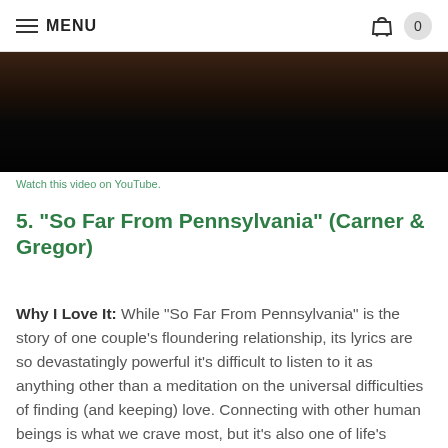MENU  0
[Figure (screenshot): Dark video thumbnail, mostly black with faint warm tones at top]
Watch this video on YouTube.
5. “So Far From Pennsylvania” (Carner & Gregor)
Why I Love It: While “So Far From Pennsylvania” is the story of one couple’s floundering relationship, its lyrics are so devastatingly powerful it’s difficult to listen to it as anything other than a meditation on the universal difficulties of finding (and keeping) love. Connecting with other human beings is what we crave most, but it’s also one of life’s biggest